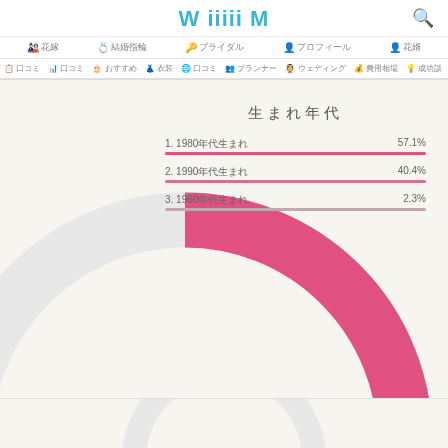WiiiiM
ナビゲーション項目
サブナビゲーション
[Figure (donut-chart): 生まれ年代]